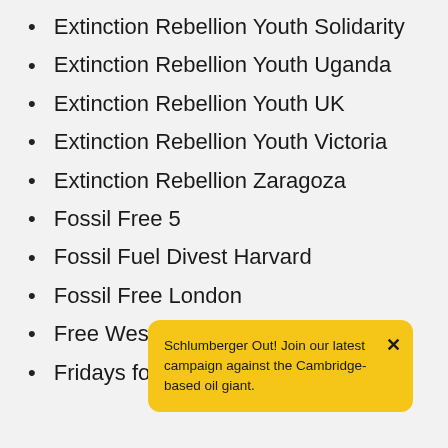Extinction Rebellion Youth Solidarity
Extinction Rebellion Youth Uganda
Extinction Rebellion Youth UK
Extinction Rebellion Youth Victoria
Extinction Rebellion Zaragoza
Fossil Free 5
Fossil Fuel Divest Harvard
Fossil Free London
Free West
Fridays fo
Schlumberger Out! Join our latest campaign against the Cambridge-based oil giant.